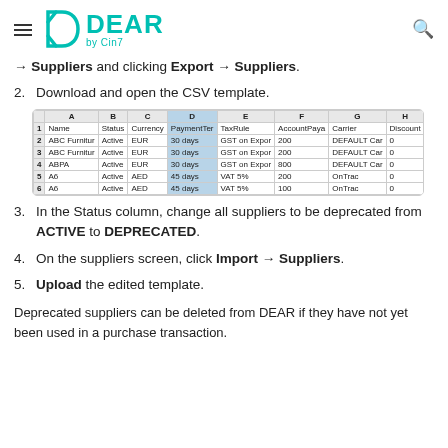DEAR by Cin7
→ Suppliers and clicking Export → Suppliers.
2. Download and open the CSV template.
[Figure (screenshot): CSV template spreadsheet showing supplier columns: Name, Status, Currency, PaymentTerm, TaxRule, AccountPayable, Carrier, Discount, TaxNumber with sample rows of supplier data]
3. In the Status column, change all suppliers to be deprecated from ACTIVE to DEPRECATED.
4. On the suppliers screen, click Import → Suppliers.
5. Upload the edited template.
Deprecated suppliers can be deleted from DEAR if they have not yet been used in a purchase transaction.